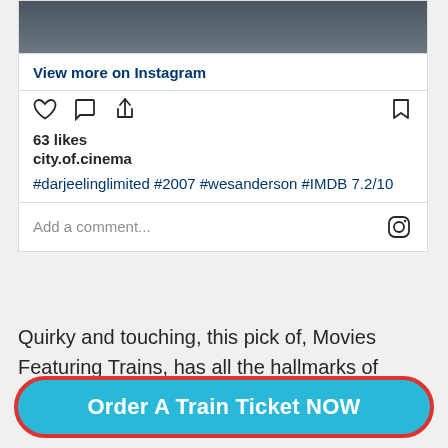[Figure (screenshot): Top portion of an Instagram post showing a cropped photo of people at the top, followed by Instagram UI elements: 'View more on Instagram' link, action icons (heart, comment, share, bookmark), like count, username, hashtags, and comment input area.]
Quirky and touching, this pick of, Movies Featuring Trains, has all the hallmarks of its writer-director Wes Anderson. After
Order A Train Ticket NOW